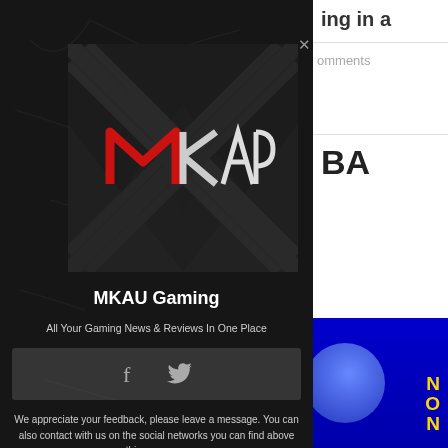[Figure (logo): MKAU Gaming logo — stylized MK in red and white/grey on dark geometric background]
MKAU Gaming
All Your Gaming News & Reviews In One Place
[Figure (infographic): Social media icons bar with Facebook (f) and Twitter bird icons on grey background]
We appreciate your feedback, please leave a message. You can also contact with us on the social networks you can find above this message.
General Questions